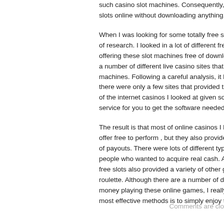such casino slot machines. Consequently, slots online without downloading anything.
When I was looking for some totally free sl of research. I looked in a lot of different fre offering these slot machines free of downlo a number of different live casino sites that machines. Following a careful analysis, it b there were only a few sites that provided th of the internet casinos I looked at given so service for you to get the software needed
The result is that most of online casinos I lo offer free to perform , but they also provide of payouts. There were lots of different type people who wanted to acquire real cash. A free slots also provided a variety of other g roulette. Although there are a number of di money playing these online games, I really most effective methods is to simply enjoy t
Comments are clo